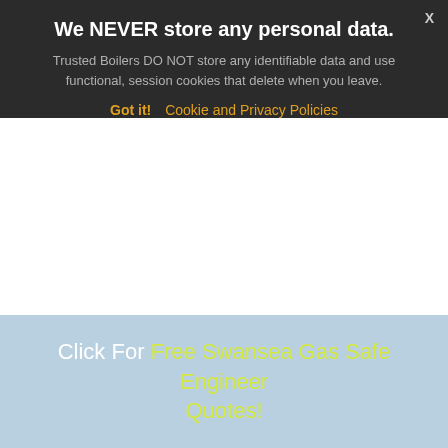We NEVER store any personal data.
Trusted Boilers DO NOT store any identifiable data and use functional, session cookies that delete when you leave.
Got it!  Cookie and Privacy Policies
Click For Free Swansea Gas Safe Engineer Quotes!